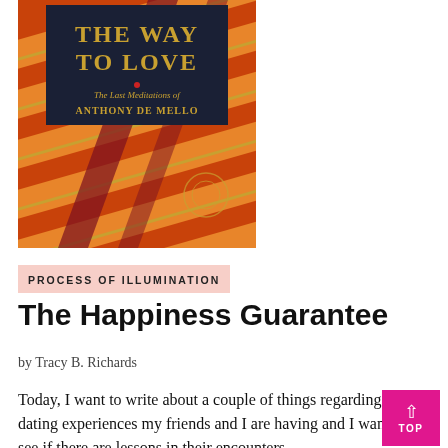[Figure (photo): Book cover of 'The Way to Love: The Last Meditations of Anthony de Mello' showing red and gold decorative fabric/textile pattern with dark title area]
PROCESS OF ILLUMINATION
The Happiness Guarantee
by Tracy B. Richards
Today, I want to write about a couple of things regarding the dating experiences my friends and I are having and I want to see if there are lessons in their encounters...